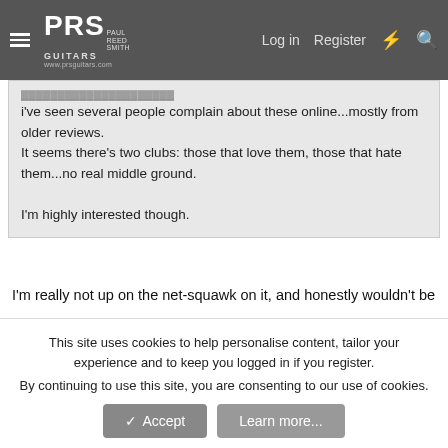PRS Paul Reed Smith Guitars www.prsguitars.com | Log in | Register
i've seen several people complain about these online...mostly from older reviews.
It seems there's two clubs: those that love them, those that hate them...no real middle ground.

I'm highly interested though.
I'm really not up on the net-squawk on it, and honestly wouldn't be influenced. I've owned three 55s, gigged each pretty heavily including a lot of rehearsal hours, and never had a single failure. Thought I'd finally experienced a glitch with the 4x10, but it just turned out to be a bad connection in the cable going to the foot switch. So many hundreds of hours later, they've been bulletproof in my personal use.
No disrespect intended towards anyone in particular, but much
This site uses cookies to help personalise content, tailor your experience and to keep you logged in if you register.
By continuing to use this site, you are consenting to our use of cookies.